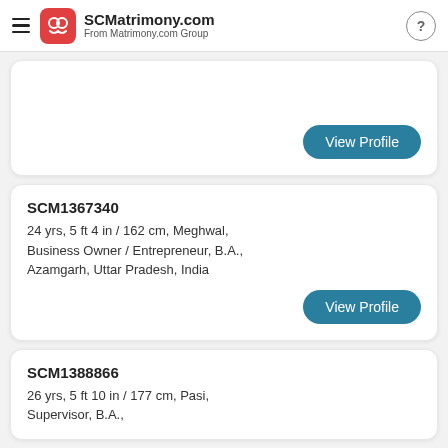SCMatrimony.com From Matrimony.com Group
View Profile
SCM1367340
24 yrs, 5 ft 4 in / 162 cm, Meghwal, Business Owner / Entrepreneur, B.A., Azamgarh, Uttar Pradesh, India
View Profile
SCM1388866
26 yrs, 5 ft 10 in / 177 cm, Pasi, Supervisor, B.A.,